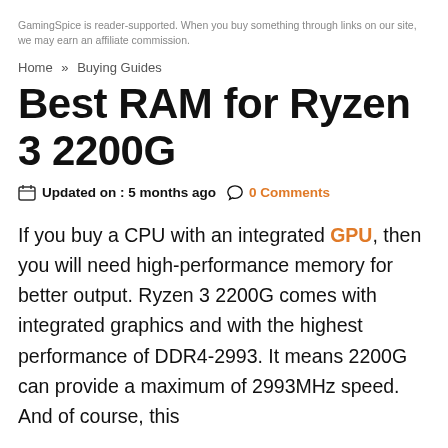GamingSpice is reader-supported. When you buy something through links on our site, we may earn an affiliate commission.
Home » Buying Guides
Best RAM for Ryzen 3 2200G
Updated on : 5 months ago  0 Comments
If you buy a CPU with an integrated GPU, then you will need high-performance memory for better output. Ryzen 3 2200G comes with integrated graphics and with the highest performance of DDR4-2993. It means 2200G can provide a maximum of 2993MHz speed. And of course, this